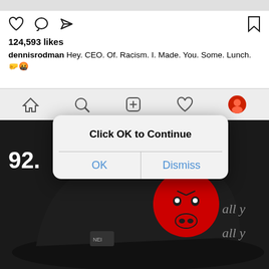[Figure (screenshot): Instagram post screenshot showing heart/comment/share icons, bookmark icon, 124,593 likes, caption by dennisrodman: Hey. CEO. Of. Racism. I. Made. You. Some. Lunch. with emojis, and Instagram navigation bar]
124,593 likes
dennisrodman Hey. CEO. Of. Racism. I. Made. You. Some. Lunch. 🤛🤬
92.
[Figure (photo): Person wearing black Chicago Bulls New Era fitted cap, Bulls logo visible in red and white, cursive text visible on right side]
Click OK to Continue
OK
Dismiss